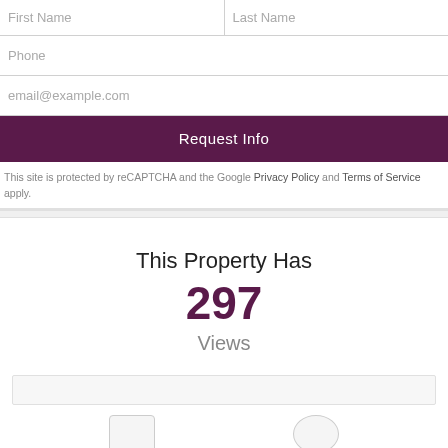First Name
Last Name
Phone
email@example.com
Request Info
This site is protected by reCAPTCHA and the Google Privacy Policy and Terms of Service apply.
This Property Has
297
Views